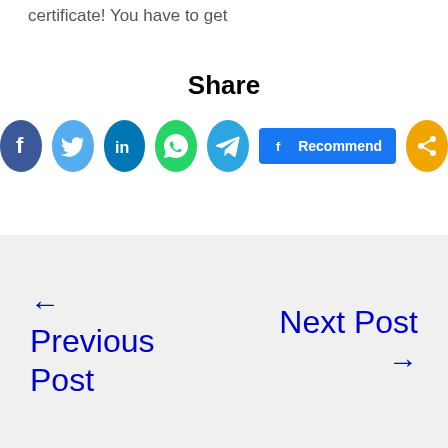certificate! You have to get
Share
[Figure (infographic): Social sharing icons: Facebook (dark blue circle with f), Twitter (light blue circle with bird), LinkedIn (teal circle with in), WhatsApp (green circle with phone), Telegram (blue circle with paper plane), Facebook Recommend button (blue rectangle), Share (orange circle with share icon)]
← Previous Post
Next Post →